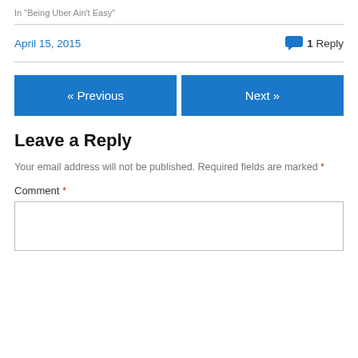In "Being Uber Ain't Easy"
April 15, 2015
1 Reply
« Previous
Next »
Leave a Reply
Your email address will not be published. Required fields are marked *
Comment *